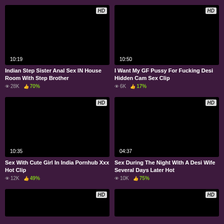[Figure (screenshot): Black video thumbnail with HD badge and duration 10:19]
Indian Step Sister Anal Sex IN House Room With Step Brother
28K views, 70% likes
[Figure (screenshot): Black video thumbnail with HD badge and duration 10:50]
I Want My GF Pussy For Fucking Desi Hidden Cam Sex Clip
6K views, 17% likes
[Figure (screenshot): Black video thumbnail with HD badge and duration 10:35]
Sex With Cute Girl In India Pornhub Xxx Hot Clip
12K views, 49% likes
[Figure (screenshot): Black video thumbnail with HD badge and duration 04:37]
Sex During The Night With A Desi Wife Several Days Later Hot
10K views, 75% likes
[Figure (screenshot): Black video thumbnail with HD badge, partially visible at bottom]
[Figure (screenshot): Black video thumbnail with HD badge, partially visible at bottom]